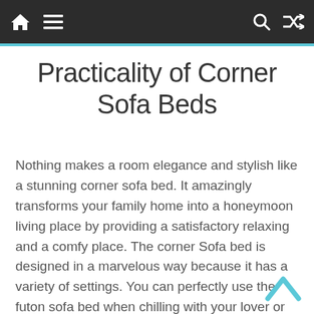Navigation bar with home, menu, search, and shuffle icons
Practicality of Corner Sofa Beds
Nothing makes a room elegance and stylish like a stunning corner sofa bed. It amazingly transforms your family home into a honeymoon living place by providing a satisfactory relaxing and a comfy place. The corner Sofa bed is designed in a marvelous way because it has a variety of settings. You can perfectly use the futon sofa bed when chilling with your lover or entertaining a large number of people as they have a big space for all. The chaise lounge section offers you a section to put on your feet after a tedious day.